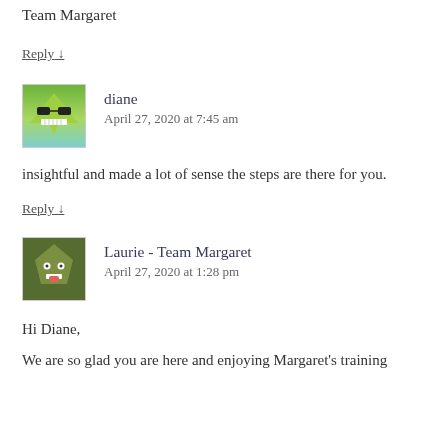Team Margaret
Reply ↓
diane
April 27, 2020 at 7:45 am
insightful and made a lot of sense the steps are there for you.
Reply ↓
Laurie - Team Margaret
April 27, 2020 at 1:28 pm
Hi Diane,
We are so glad you are here and enjoying Margaret's training